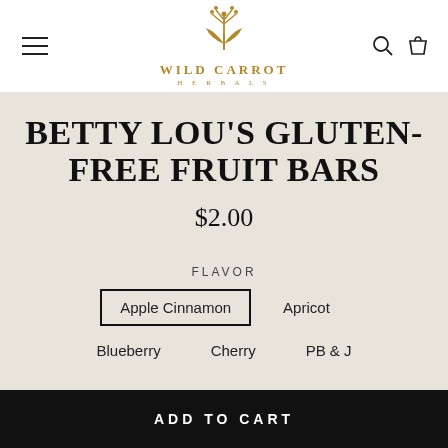[Figure (logo): Wild Carrot Herbals logo with stylized plant/flower icon in gold/bronze color above the text WILD CARROT HERBALS]
BETTY LOU'S GLUTEN-FREE FRUIT BARS
$2.00
FLAVOR
Apple Cinnamon (selected)
Apricot
Blueberry
Cherry
PB & J
ADD TO CART